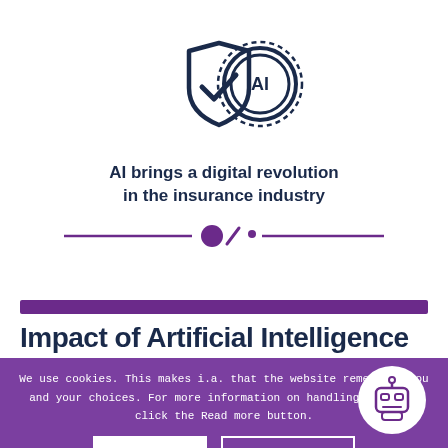[Figure (illustration): Shield with checkmark icon overlapping with a circular AI badge/gear icon, dark navy blue color]
AI brings a digital revolution in the insurance industry
[Figure (illustration): Decorative divider: horizontal purple line with circle and dots in the center]
[Figure (illustration): Purple horizontal thick bar separator]
Impact of Artificial Intelligence
We use cookies. This makes i.a. that the website remembers you and your choices. For more information on handling cookies, click the Read more button.
[Figure (illustration): Robot face icon in white circle on purple background, bottom right corner]